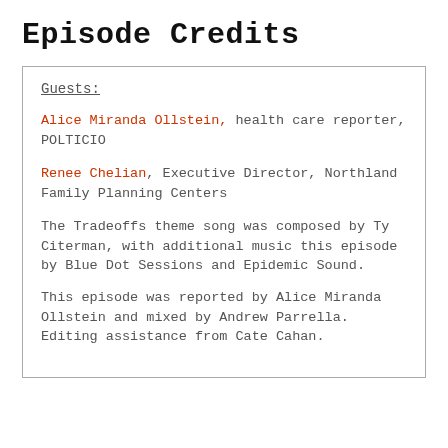Episode Credits
Guests:
Alice Miranda Ollstein, health care reporter, POLTICIO
Renee Chelian, Executive Director, Northland Family Planning Centers
The Tradeoffs theme song was composed by Ty Citerman, with additional music this episode by Blue Dot Sessions and Epidemic Sound.
This episode was reported by Alice Miranda Ollstein and mixed by Andrew Parrella. Editing assistance from Cate Cahan.